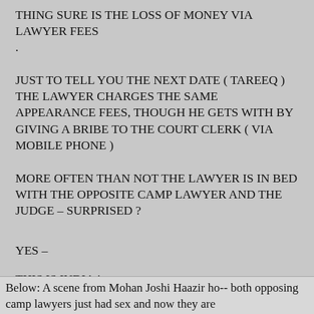THING SURE IS THE LOSS OF MONEY VIA LAWYER FEES .
JUST TO TELL YOU THE NEXT DATE ( TAREEQ ) THE LAWYER CHARGES THE SAME APPEARANCE FEES, THOUGH HE GETS WITH BY GIVING A BRIBE TO THE COURT CLERK ( VIA MOBILE PHONE )
MORE OFTEN THAN NOT THE LAWYER IS IN BED WITH THE OPPOSITE CAMP LAWYER AND THE JUDGE – SURPRISED ?
YES –
THIS IS INDIA !
Below: A scene from Mohan Joshi Haazir ho-- both opposing camp lawyers just had sex and now they are